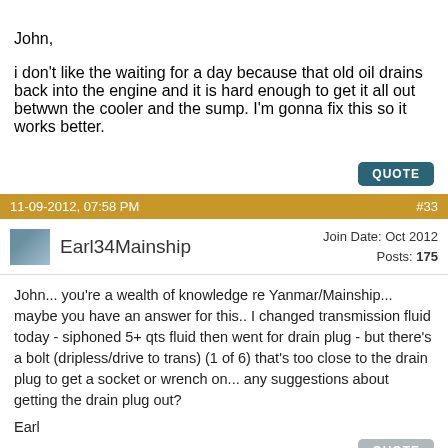John,

i don't like the waiting for a day because that old oil drains back into the engine and it is hard enough to get it all out betwwn the cooler and the sump. I'm gonna fix this so it works better.
QUOTE
11-09-2012, 07:58 PM    #33
Earl34Mainship   Join Date: Oct 2012  Posts: 175
John... you're a wealth of knowledge re Yanmar/Mainship... maybe you have an answer for this.. I changed transmission fluid today - siphoned 5+ qts fluid then went for drain plug - but there's a bolt (dripless/drive to trans) (1 of 6) that's too close to the drain plug to get a socket or wrench on... any suggestions about getting the drain plug out?

Earl
QUOTE